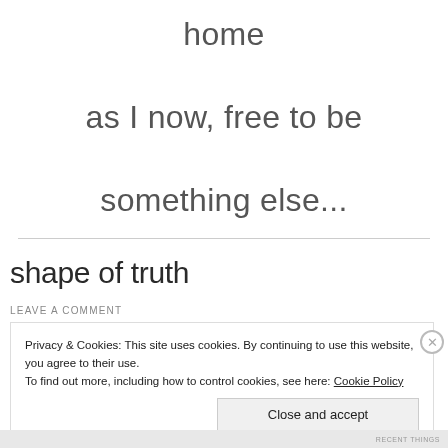home

as I now, free to be

something else...
shape of truth
LEAVE A COMMENT
Privacy & Cookies: This site uses cookies. By continuing to use this website, you agree to their use.
To find out more, including how to control cookies, see here: Cookie Policy
RECENT THINGS